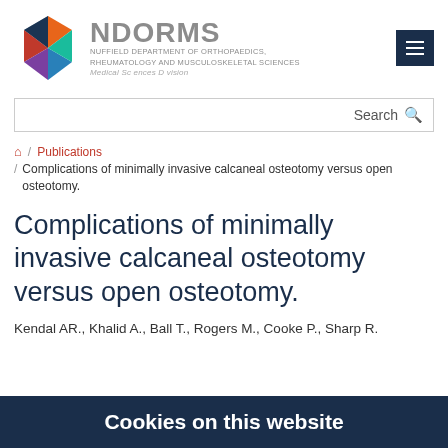[Figure (logo): NDORMS logo: colorful hexagon with orange, red, teal, blue, purple segments alongside text 'NDORMS', 'NUFFIELD DEPARTMENT OF ORTHOPAEDICS, RHEUMATOLOGY AND MUSCULOSKELETAL SCIENCES', 'Medical Sciences Division']
Search
🏠 / Publications / Complications of minimally invasive calcaneal osteotomy versus open osteotomy.
Complications of minimally invasive calcaneal osteotomy versus open osteotomy.
Kendal AR., Khalid A., Ball T., Rogers M., Cooke P., Sharp R.
Cookies on this website